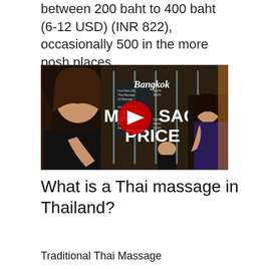between 200 baht to 400 baht (6-12 USD) (INR 822), occasionally 500 in the more posh places.
[Figure (screenshot): YouTube video thumbnail showing two women at a Bangkok massage parlor with text overlay reading 'Bangkok MASSAGE PRICE' and a YouTube play button in the center.]
What is a Thai massage in Thailand?
Traditional Thai Massage